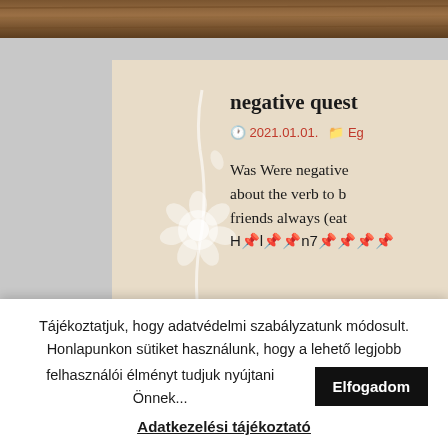[Figure (screenshot): Screenshot of a website with a wooden texture header at top, and a beige card with white floral decorative motif on the left side. The card shows a partially visible article title 'negative quest', a date '2021.01.01.' and a category tag starting with 'Eg', and partial article text about 'Was Were negative... about the verb to b... friends always (eat... H&#x1F4CC;l&#x1F4CC;&#x1F4CC;n7&#x1F4CC;&#x1F4CC;&#x1F4CC;&#x1F4CC;']
Tájékoztatjuk, hogy adatvédelmi szabályzatunk módosult. Honlapunkon sütiket használunk, hogy a lehető legjobb felhasználói élményt tudjuk nyújtani Önnek...
Elfogadom
Adatkezelési tájékoztató